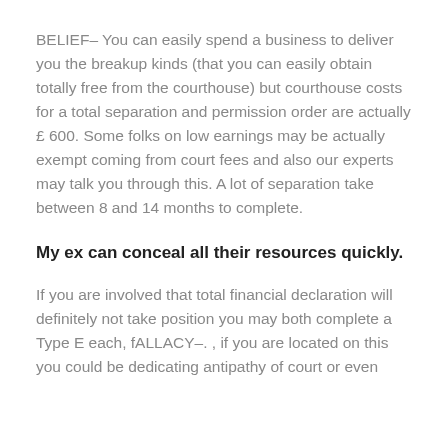BELIEF– You can easily spend a business to deliver you the breakup kinds (that you can easily obtain totally free from the courthouse) but courthouse costs for a total separation and permission order are actually £ 600. Some folks on low earnings may be actually exempt coming from court fees and also our experts may talk you through this. A lot of separation take between 8 and 14 months to complete.
My ex can conceal all their resources quickly.
If you are involved that total financial declaration will definitely not take position you may both complete a Type E each, fALLACY–. , if you are located on this you could be dedicating antipathy of court or even